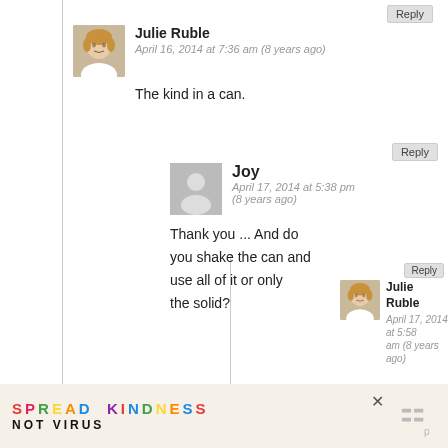Reply
Julie Ruble
April 16, 2014 at 7:36 am (8 years ago)
The kind in a can.
Reply
Joy
April 17, 2014 at 5:38 pm (8 years ago)
Thank you ... And do you shake the can and use all of it or only the solid?
Reply
Julie Ruble
April 17, 2014 at 5:58
SPREAD KINDNESS NOT VIRUS